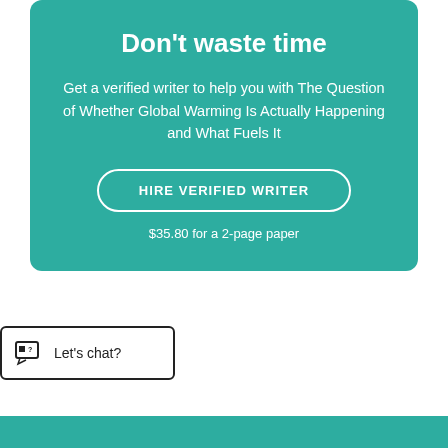Don't waste time
Get a verified writer to help you with The Question of Whether Global Warming Is Actually Happening and What Fuels It
HIRE VERIFIED WRITER
$35.80 for a 2-page paper
Let's chat?